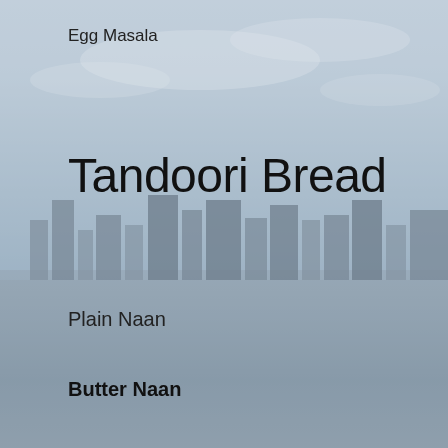Egg Masala
Tandoori Bread
Plain Naan
Butter Naan
Plain Rotti
Butter Rotti
Romally Rotti
[Figure (photo): Aerial cityscape photo with buildings and cloudy sky, semi-transparent overlay]